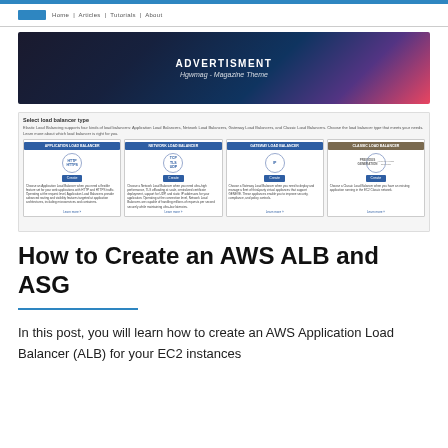[Figure (screenshot): Advertisement banner with city skyline background showing 'ADVERTISMENT' and 'Hgwmag - Magazine Theme']
[Figure (screenshot): AWS console screenshot showing 'Select load balancer type' page with four options: Application Load Balancer, Network Load Balancer, Gateway Load Balancer, and Classic Load Balancer, each with icons and Create buttons]
How to Create an AWS ALB and ASG
In this post, you will learn how to create an AWS Application Load Balancer (ALB) for your EC2 instances